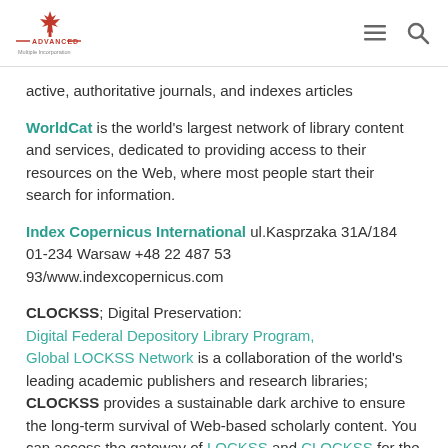ADVANCED Multiple Incorporation [logo]
active, authoritative journals, and indexes articles
WorldCat is the world's largest network of library content and services, dedicated to providing access to their resources on the Web, where most people start their search for information.
Index Copernicus International ul.Kasprzaka 31A/184 01-234 Warsaw +48 22 487 53 93/www.indexcopernicus.com
CLOCKSS; Digital Preservation: Digital Federal Depository Library Program, Global LOCKSS Network is a collaboration of the world's leading academic publishers and research libraries; CLOCKSS provides a sustainable dark archive to ensure the long-term survival of Web-based scholarly content. You can access the gateway of LOCKSS and CLOCKSS for the manifesto of Journal of Applied Pharmacy.